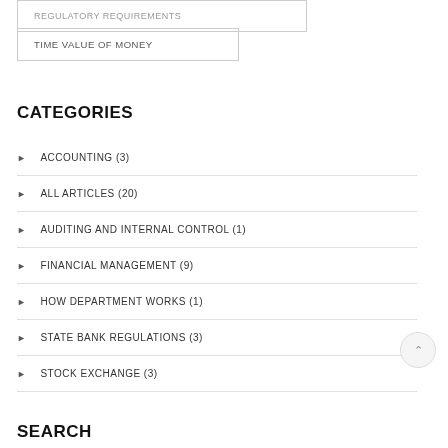REGULATORY REQUIREMENTS
TIME VALUE OF MONEY
CATEGORIES
ACCOUNTING (3)
ALL ARTICLES (20)
AUDITING AND INTERNAL CONTROL (1)
FINANCIAL MANAGEMENT (9)
HOW DEPARTMENT WORKS (1)
STATE BANK REGULATIONS (3)
STOCK EXCHANGE (3)
SEARCH